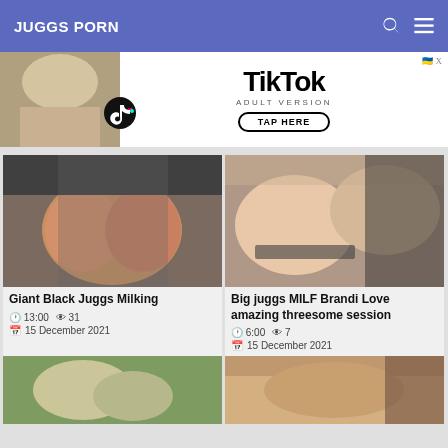JUGGS PORN
[Figure (screenshot): TikTok Adult Version advertisement banner with photo and tap here button]
[Figure (photo): Video thumbnail - Giant Black Juggs Milking]
Giant Black Juggs Milking
13:00  31  15 December 2021
[Figure (photo): Video thumbnail - Big juggs MILF Brandi Love amazing threesome session]
Big juggs MILF Brandi Love amazing threesome session
6:00  7  15 December 2021
[Figure (photo): Video thumbnail bottom left - partially visible]
[Figure (photo): Video thumbnail bottom right - partially visible]